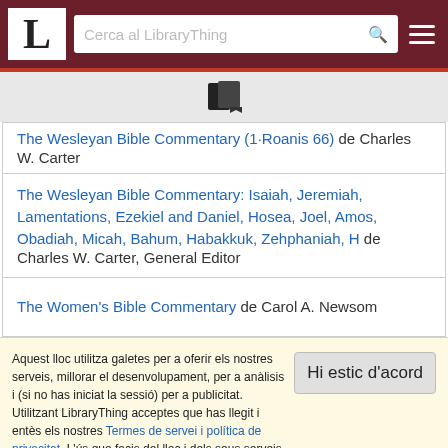L  Cerca al LibraryThing
The Wesleyan Bible Commentary (1 Roanis 66) de Charles W. Carter
The Wesleyan Bible Commentary: Isaiah, Jeremiah, Lamentations, Ezekiel and Daniel, Hosea, Joel, Amos, Obadiah, Micah, Bahum, Habakkuk, Zehphaniah, H de Charles W. Carter, General Editor
The Women's Bible Commentary de Carol A. Newsom
Aquest lloc utilitza galetes per a oferir els nostres serveis, millorar el desenvolupament, per a anàlisis i (si no has iniciat la sessió) per a publicitat. Utilitzant LibraryThing acceptes que has llegit i entès els nostres Termes de servei i política de privacitat. L'ús que facis del lloc i dels seus serveis està subjecte a aquestes polítiques i termes.